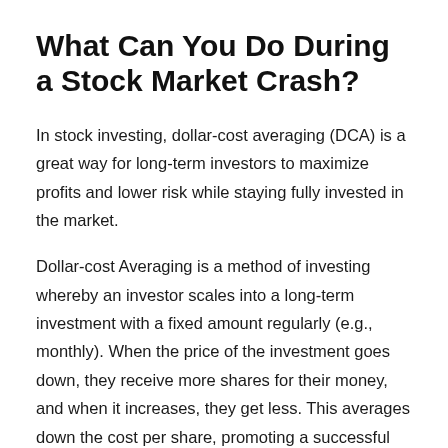What Can You Do During a Stock Market Crash?
In stock investing, dollar-cost averaging (DCA) is a great way for long-term investors to maximize profits and lower risk while staying fully invested in the market.
Dollar-cost Averaging is a method of investing whereby an investor scales into a long-term investment with a fixed amount regularly (e.g., monthly). When the price of the investment goes down, they receive more shares for their money, and when it increases, they get less. This averages down the cost per share, promoting a successful outcome.